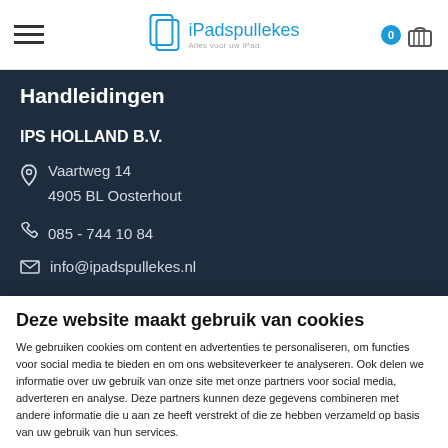iPadspullekes - Alles voor uw iPad
Handleidingen
IPS HOLLAND B.V.
Vaartweg 14
4905 BL Oosterhout
085 - 744 10 84
info@ipadspullekes.nl
Deze website maakt gebruik van cookies
We gebruiken cookies om content en advertenties te personaliseren, om functies voor social media te bieden en om ons websiteverkeer te analyseren. Ook delen we informatie over uw gebruik van onze site met onze partners voor social media, adverteren en analyse. Deze partners kunnen deze gegevens combineren met andere informatie die u aan ze heeft verstrekt of die ze hebben verzameld op basis van uw gebruik van hun services.
OK
Details tonen